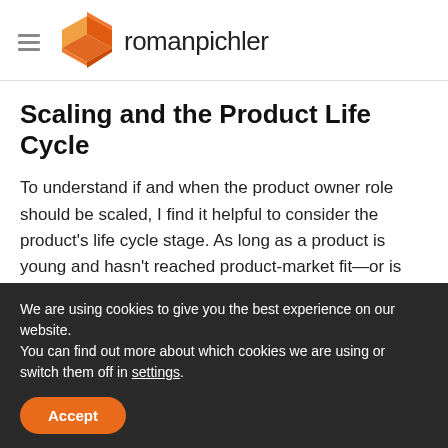romanpichler
Scaling and the Product Life Cycle
To understand if and when the product owner role should be scaled, I find it helpful to consider the product's life cycle stage. As long as a product is young and hasn't reached product-market fit—or is close to achieving it—I recommend having a single person in charge of the product. Here is why:
We are using cookies to give you the best experience on our website.
You can find out more about which cookies we are using or switch them off in settings.
Accept